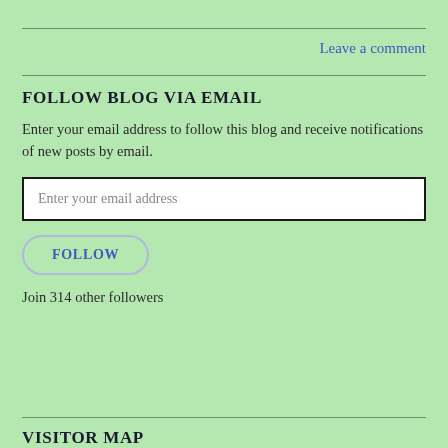Leave a comment
FOLLOW BLOG VIA EMAIL
Enter your email address to follow this blog and receive notifications of new posts by email.
[Figure (other): Email input field with placeholder text 'Enter your email address']
[Figure (other): FOLLOW button with rounded border]
Join 314 other followers
VISITOR MAP